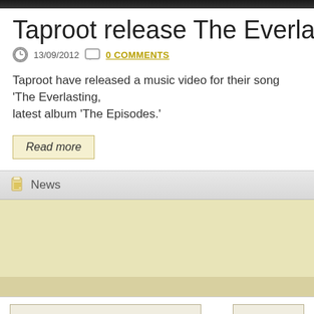Taproot release The Everlasting m
13/09/2012   0 COMMENTS
Taproot have released a music video for their song ‘The Everlasting,’ latest album ‘The Episodes.’
Read more
News
[Figure (screenshot): Yellow-beige content block and form input area with two text input fields]